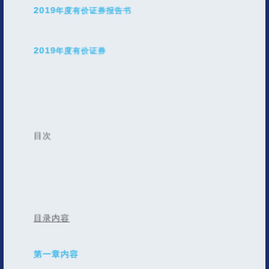2019年度有价证券报告书
2019年度有价证券
目次
目录内容
第一章内容